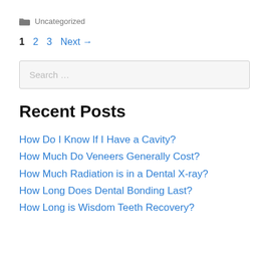📁 Uncategorized
1  2  3  Next →
Search …
Recent Posts
How Do I Know If I Have a Cavity?
How Much Do Veneers Generally Cost?
How Much Radiation is in a Dental X-ray?
How Long Does Dental Bonding Last?
How Long is Wisdom Teeth Recovery?